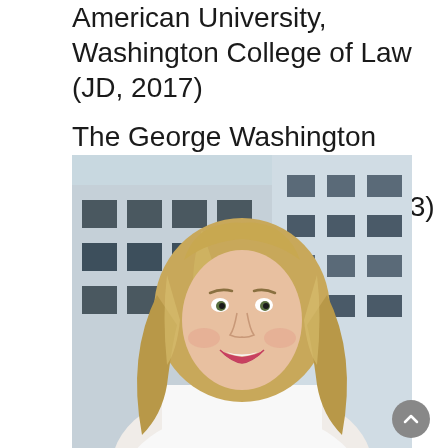American University, Washington College of Law (JD, 2017)
The George Washington University (BBA in International Business, 2013)
[Figure (photo): Professional headshot of a woman with long blonde/highlighted wavy hair, smiling, wearing a white collared shirt, with a building exterior visible in the background.]